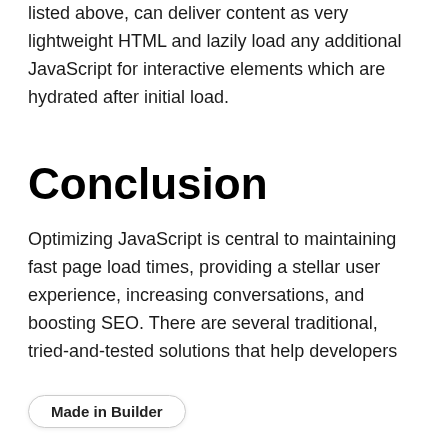listed above, can deliver content as very lightweight HTML and lazily load any additional JavaScript for interactive elements which are hydrated after initial load.
Conclusion
Optimizing JavaScript is central to maintaining fast page load times, providing a stellar user experience, increasing conversations, and boosting SEO. There are several traditional, tried-and-tested solutions that help developers , but newer automated solutions can do the heavy lifting, saving you